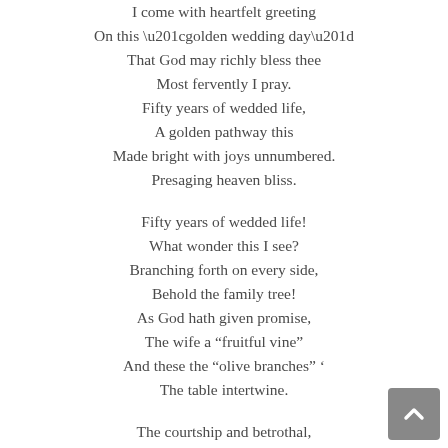I come with heartfelt greeting
On this “golden wedding day”
That God may richly bless thee
Most fervently I pray.
Fifty years of wedded life,
A golden pathway this
Made bright with joys unnumbered.
Presaging heaven bliss.

Fifty years of wedded life!
What wonder this I see?
Branching forth on every side,
Behold the family tree!
As God hath given promise,
The wife a “fruitful vine”
And these the “olive branches” ‘
The table intertwine.

The courtship and betrothal,
The solemn marriage vow,
The going forth to found the home